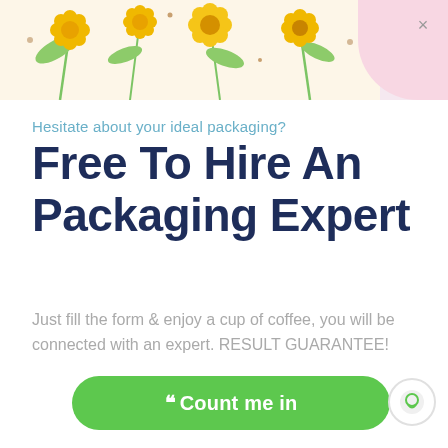[Figure (illustration): Decorative floral banner at top with yellow flowers and green leaves on light background, with pink rounded section on the right containing a close (X) button]
Hesitate about your ideal packaging?
Free To Hire An Packaging Expert
Just fill the form & enjoy a cup of coffee, you will be connected with an expert. RESULT GUARANTEE!
» Count me in